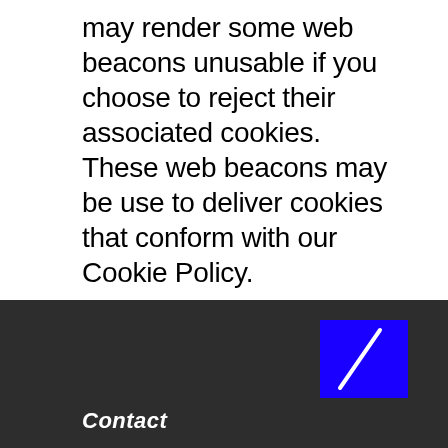may render some web beacons unusable if you choose to reject their associated cookies. These web beacons may be use to deliver cookies that conform with our Cookie Policy.
[Figure (logo): Blue square with a white diagonal line through it, positioned in the dark footer area]
Contact